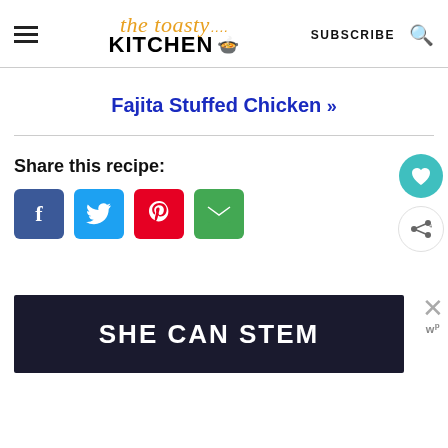The Toasty Kitchen - SUBSCRIBE
Fajita Stuffed Chicken »
Share this recipe:
[Figure (infographic): Social share buttons: Facebook (blue), Twitter (cyan), Pinterest (red), Email (green), plus a teal heart button and a share button on the right side]
[Figure (infographic): Advertisement banner with dark background reading 'SHE CAN STEM' in white bold text, with a close X button and WP logo on the right]